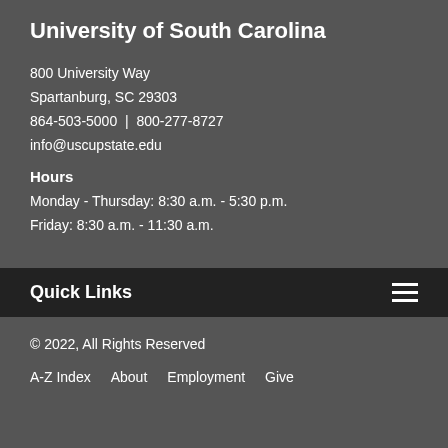University of South Carolina
800 University Way
Spartanburg, SC 29303
864-503-5000  |  800-277-8727
info@uscupstate.edu
Hours
Monday - Thursday: 8:30 a.m. - 5:30 p.m.
Friday: 8:30 a.m. - 11:30 a.m.
Quick Links
© 2022, All Rights Reserved
A-Z Index  About  Employment  Give